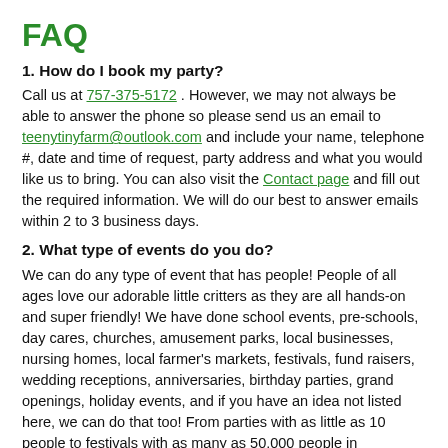FAQ
1. How do I book my party?
Call us at 757-375-5172 . However, we may not always be able to answer the phone so please send us an email to teenytinyfarm@outlook.com and include your name, telephone #, date and time of request, party address and what you would like us to bring. You can also visit the Contact page and fill out the required information. We will do our best to answer emails within 2 to 3 business days.
2. What type of events do you do?
We can do any type of event that has people! People of all ages love our adorable little critters as they are all hands-on and super friendly! We have done school events, pre-schools, day cares, churches, amusement parks, local businesses, nursing homes, local farmer's markets, festivals, fund raisers, wedding receptions, anniversaries, birthday parties, grand openings, holiday events, and if you have an idea not listed here, we can do that too! From parties with as little as 10 people to festivals with as many as 50,000 people in attendance. We can do them all!!